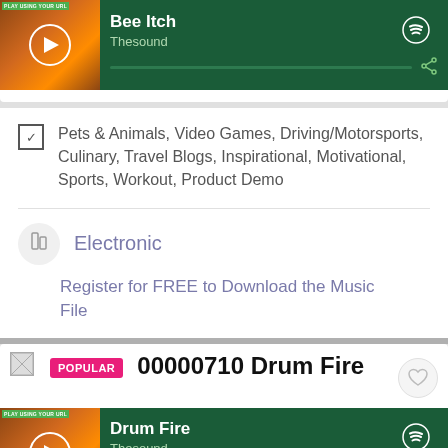[Figure (screenshot): Spotify-style music player widget showing track 'Bee Itch' by Thesound on dark green background with album art and progress bar]
Pets & Animals, Video Games, Driving/Motorsports, Culinary, Travel Blogs, Inspirational, Motivational, Sports, Workout, Product Demo
Electronic
Register for FREE to Download the Music File
[Figure (screenshot): Small broken image icon]
POPULAR
00000710 Drum Fire
[Figure (screenshot): Spotify-style music player widget showing track 'Drum Fire' by Thesound on dark green background with album art and progress bar]